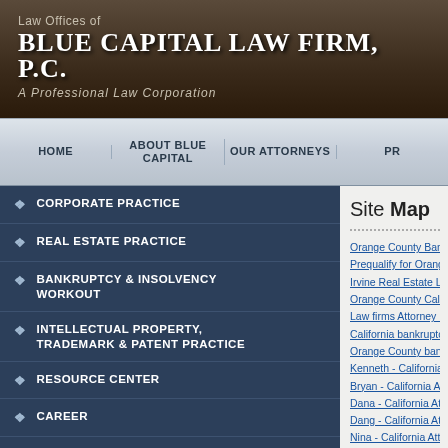Law Offices of BLUE CAPITAL LAW FIRM, P.C. A Professional Law Corporation
HOME | ABOUT BLUE CAPITAL | OUR ATTORNEYS | PR
CORPORATE PRACTICE
REAL ESTATE PRACTICE
BANKRUPTCY & INSOLVENCY WORKOUT
INTELLECTUAL PROPERTY, TRADEMARK & PATENT PRACTICE
RESOURCE CENTER
CAREER
REPRESENTATIVE WORK
PRIVATE POLICY
Site Map
Orange County Bankruptcy Atto...
Prequalify for Orange County B...
Irvine Real Estate Lawyer, Oran...
Orange County California Law ...
Law firms Attorney Escrow Pay...
California bankruptcy attorney,...
Orange County bankruptcy law...
Kenneth - California Attorney a...
Bryan - California Attorney and...
Dana - California Attorney and ...
Dang - California Attorney and ...
Nina - California Attorney and l...
Selena - California Attorney ane...
Stephen - Los Angeles Californi...
Law Firm - Orange County Cal...
Career - California Oran...